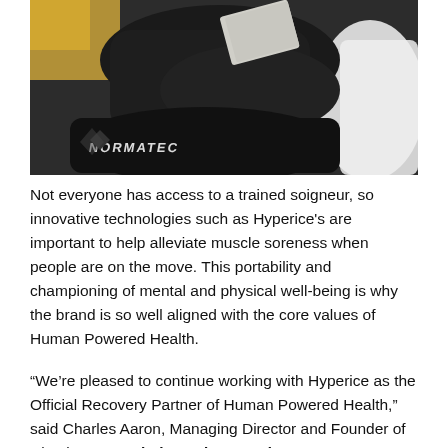[Figure (photo): A person sitting on a bed or couch, holding reading material, with a black Normatec/compression therapy device bag or leg sleeve visible in the foreground with stylized branding text on it.]
Not everyone has access to a trained soigneur, so innovative technologies such as Hyperice's are important to help alleviate muscle soreness when people are on the move. This portability and championing of mental and physical well-being is why the brand is so well aligned with the core values of Human Powered Health.
“We’re pleased to continue working with Hyperice as the Official Recovery Partner of Human Powered Health,” said Charles Aaron, Managing Director and Founder of Circuit Sport. “Their products and company support our goals of helping people achieve better health and strength.”